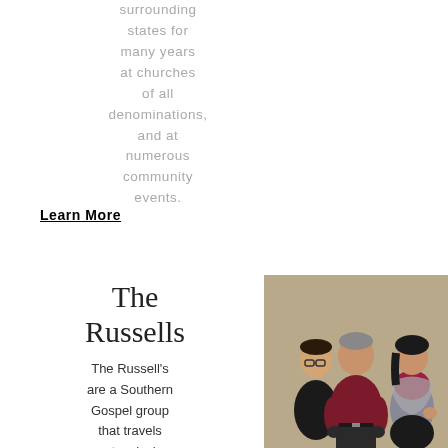surrounding states for many years at churches of all denominations, and at numerous community events.
Learn More
The Russells
The Russell's are a Southern Gospel group that travels extensively throughout
[Figure (photo): Three people posing together: a young man in black on the left, an older man in maroon shirt in the center, and a woman in gray wrap on the right, against a beige/tan background.]